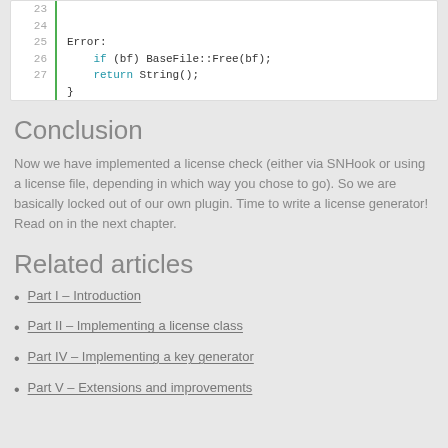[Figure (screenshot): Code snippet showing lines 23-27 with Error: if (bf) BaseFile::Free(bf); return String(); } in a code editor with line numbers and green left border]
Conclusion
Now we have implemented a license check (either via SNHook or using a license file, depending in which way you chose to go). So we are basically locked out of our own plugin. Time to write a license generator! Read on in the next chapter.
Related articles
Part I – Introduction
Part II – Implementing a license class
Part IV – Implementing a key generator
Part V – Extensions and improvements